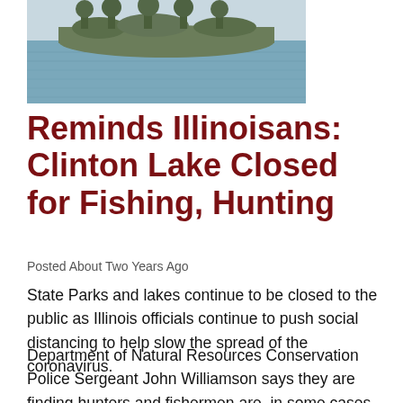[Figure (photo): Aerial or shoreline photograph of Clinton Lake showing water surface with a small island or landmass in the background]
Reminds Illinoisans: Clinton Lake Closed for Fishing, Hunting
Posted About Two Years Ago
State Parks and lakes continue to be closed to the public as Illinois officials continue to push social distancing to help slow the spread of the coronavirus.
Department of Natural Resources Conservation Police Sergeant John Williamson says they are finding hunters and fishermen are, in some cases, still unaware of the decree from Governor JB Pritzker that